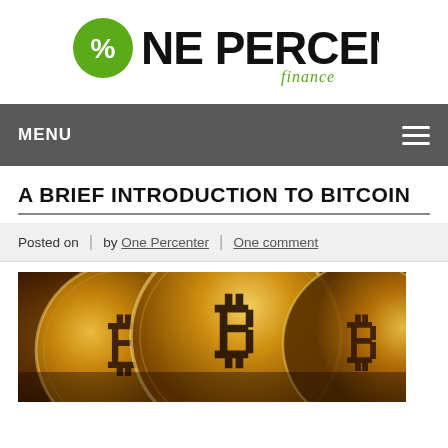[Figure (logo): One Percent Finance logo with green circle percent sign and bold black text]
MENU
A BRIEF INTRODUCTION TO BITCOIN
Posted on | by One Percenter | One comment
[Figure (photo): Close-up photo of multiple gold Bitcoin coins]